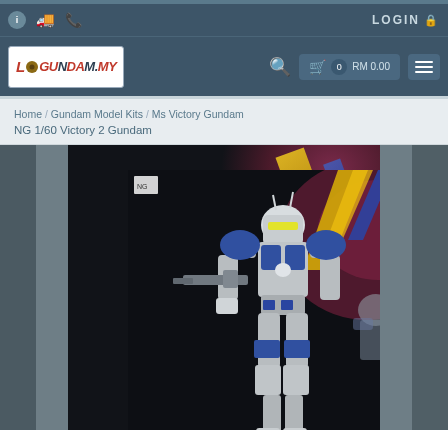LOGIN
[Figure (logo): Gundam.my logo - red and dark text on white background with gear icon]
0  RM 0.00
Home / Gundam Model Kits / Ms Victory Gundam / NG 1/60 Victory 2 Gundam
[Figure (photo): Gundam model kit product image - Victory 2 Gundam anime illustration on dark background with blue/white mecha and pink/yellow accents]